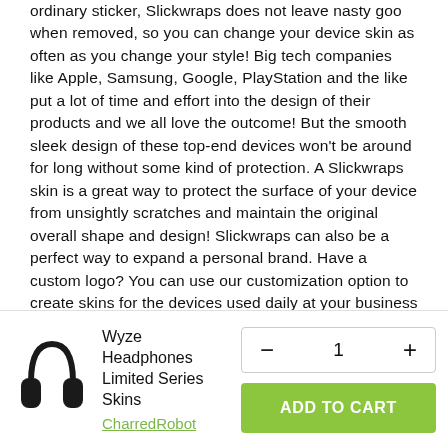ordinary sticker, Slickwraps does not leave nasty goo when removed, so you can change your device skin as often as you change your style! Big tech companies like Apple, Samsung, Google, PlayStation and the like put a lot of time and effort into the design of their products and we all love the outcome! But the smooth sleek design of these top-end devices won't be around for long without some kind of protection. A Slickwraps skin is a great way to protect the surface of your device from unsightly scratches and maintain the original overall shape and design! Slickwraps can also be a perfect way to expand a personal brand. Have a custom logo? You can use our customization option to create skins for the devices used daily at your business or subtly spread the word while you take calls on a personalized cell phone.
How to Install and remove your Slickwraps?
[Figure (illustration): Wyze headphones product image — black over-ear headphones]
Wyze Headphones Limited Series Skins
CharredRobot
- 1 +
ADD TO CART